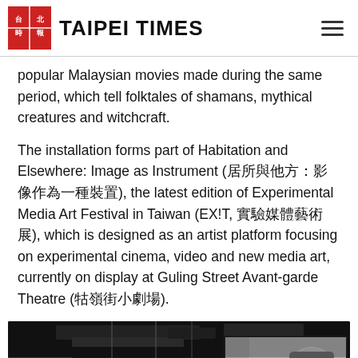TAIPEI TIMES
popular Malaysian movies made during the same period, which tell folktales of shamans, mythical creatures and witchcraft.
The installation forms part of Habitation and Elsewhere: Image as Instrument (居住與他方：影像作為一種裝置), the latest edition of Experimental Media Art Festival in Taiwan (EX!T, 實驗媒體藝術展), which is designed as an artist platform focusing on experimental cinema, video and new media art, currently on display at Guling Street Avant-garde Theatre (牯嶺街小劇場).
[Figure (photo): Dark interior of an exhibition space with industrial ceiling and exposed ductwork, hanging Edison bulbs, and a large projection screen on the right showing a black-and-white film with a face.]